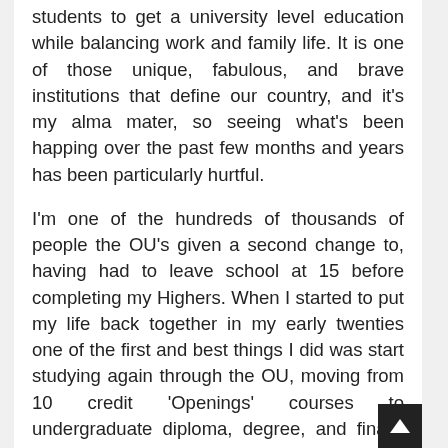students to get a university level education while balancing work and family life. It is one of those unique, fabulous, and brave institutions that define our country, and it's my alma mater, so seeing what's been happing over the past few months and years has been particularly hurtful.
I'm one of the hundreds of thousands of people the OU's given a second change to, having had to leave school at 15 before completing my Highers. When I started to put my life back together in my early twenties one of the first and best things I did was start studying again through the OU, moving from 10 credit 'Openings' courses to undergraduate diploma, degree, and finally Masters in 2016. Over ten years of study, all part time while working full time, and paying for each course as it went, avoiding debt. This was only possible because I was able to squeak in the completion of m